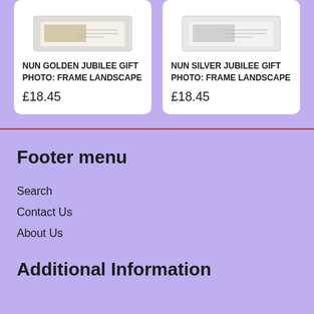[Figure (photo): Photo frame product image for Nun Golden Jubilee Gift]
NUN GOLDEN JUBILEE GIFT PHOTO: FRAME LANDSCAPE
£18.45
[Figure (photo): Photo frame product image for Nun Silver Jubilee Gift]
NUN SILVER JUBILEE GIFT PHOTO: FRAME LANDSCAPE
£18.45
Footer menu
Search
Contact Us
About Us
Additional Information